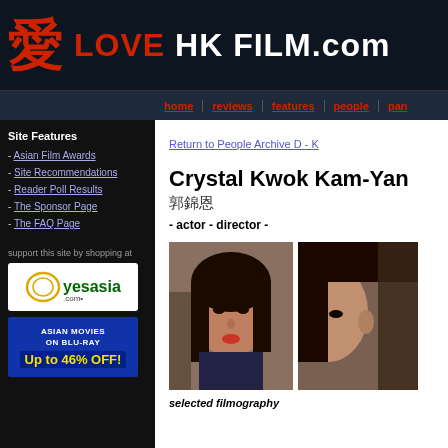LOVE HK FILM.com
home | reviews | features | people | pan
Site Features
- Asian Film Awards
- Site Recommendations
- Reader Poll Results
- The Sponsor Page
- The FAQ Page
support this site by shopping at
[Figure (logo): yesasia.com logo - green text on white background]
[Figure (illustration): Asian Movies on Blu-Ray Up to 46% OFF! banner ad - blue background with yellow text]
Return to People Archive D - K
Crystal Kwok Kam-Yan
郭錦恩
- actor - director -
[Figure (photo): Photo of Crystal Kwok Kam-Yan, a young Asian woman with long dark hair, looking upward]
[Figure (photo): Partial photo of another person, cropped at right edge]
selected filmography